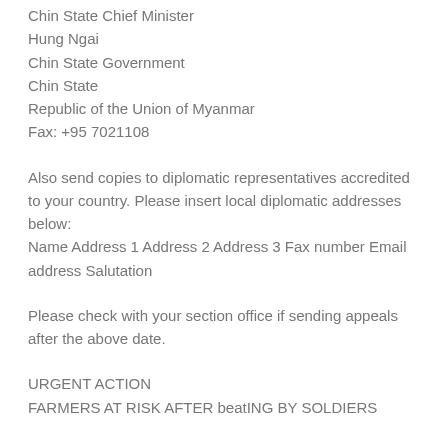Chin State Chief Minister
Hung Ngai
Chin State Government
Chin State
Republic of the Union of Myanmar
Fax: +95 7021108
Also send copies to diplomatic representatives accredited to your country. Please insert local diplomatic addresses below:
Name Address 1 Address 2 Address 3 Fax number Email address Salutation
Please check with your section office if sending appeals after the above date.
URGENT ACTION
FARMERS AT RISK AFTER beatING BY SOLDIERS